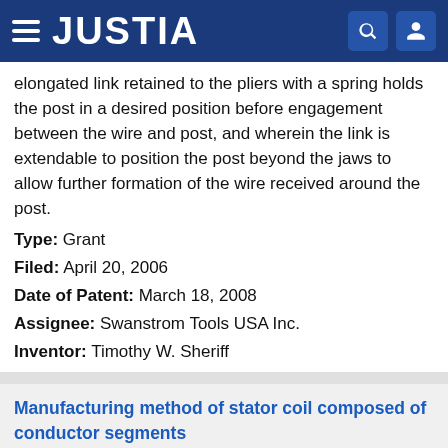JUSTIA
elongated link retained to the pliers with a spring holds the post in a desired position before engagement between the wire and post, and wherein the link is extendable to position the post beyond the jaws to allow further formation of the wire received around the post.
Type: Grant
Filed: April 20, 2006
Date of Patent: March 18, 2008
Assignee: Swanstrom Tools USA Inc.
Inventor: Timothy W. Sheriff
Manufacturing method of stator coil composed of conductor segments
Patent number: 7343662
Abstract: In manufacturing a stator coil for a rotary electric machine, a U-shaped segment is deformed at